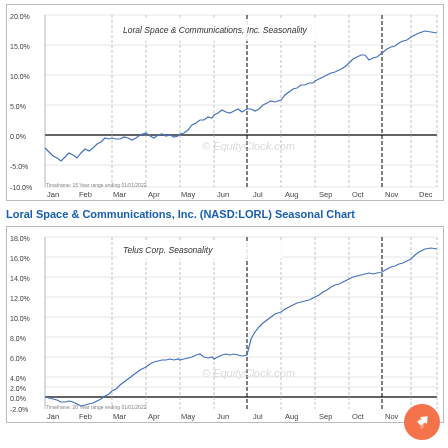[Figure (continuous-plot): Seasonality line chart for Loral Space & Communications, Inc. Y-axis from -10% to 20%, X-axis Jan through Dec. Line starts negative (~-5%) Jan-Feb, rises to near 0% Mar-May, then climbs steadily from Jun through Dec reaching ~17-18% by year-end.]
Loral Space & Communications, Inc. (NASD:LORL) Seasonal Chart
[Figure (continuous-plot): Seasonality line chart for Telus Corp. Y-axis from -4% to 18%, X-axis Jan through Dec. Line starts near 0% Jan-Feb, dips slightly, rises from Mar through May to ~6%, holds ~5-6% Jun-Jul, then climbs steadily Aug-Dec reaching ~16-17%.]